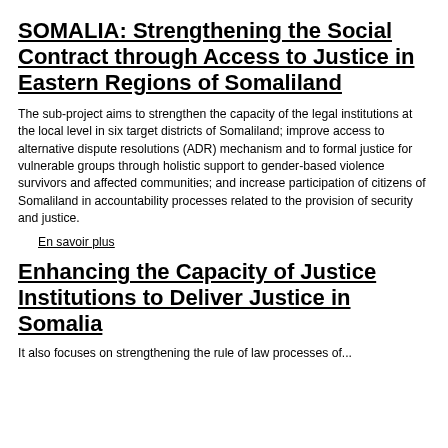SOMALIA: Strengthening the Social Contract through Access to Justice in Eastern Regions of Somaliland
The sub-project aims to strengthen the capacity of the legal institutions at the local level in six target districts of Somaliland; improve access to alternative dispute resolutions (ADR) mechanism and to formal justice for vulnerable groups through holistic support to gender-based violence survivors and affected communities; and increase participation of citizens of Somaliland in accountability processes related to the provision of security and justice.
En savoir plus
Enhancing the Capacity of Justice Institutions to Deliver Justice in Somalia
It also focuses on strengthening the rule of law processes of...